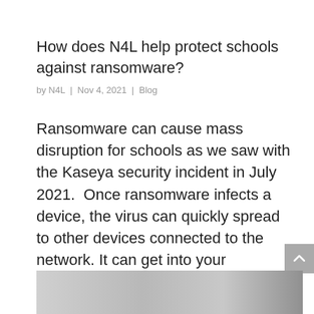How does N4L help protect schools against ransomware?
by N4L | Nov 4, 2021 | Blog
Ransomware can cause mass disruption for schools as we saw with the Kaseya security incident in July 2021.  Once ransomware infects a device, the virus can quickly spread to other devices connected to the network. It can get into your computer in the same way that…
[Figure (photo): Photograph strip showing people in an office/school setting, partially visible at the bottom of the page]